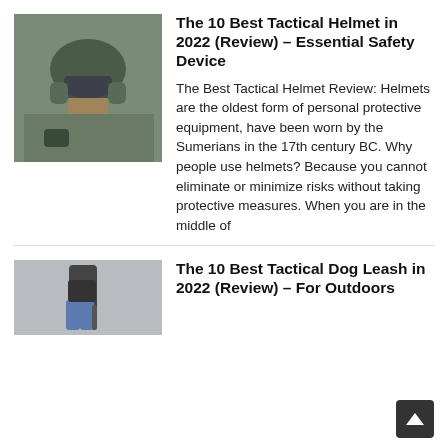[Figure (photo): Person wearing a tactical military helmet with visor and camouflage gear]
The 10 Best Tactical Helmet in 2022 (Review) – Essential Safety Device
The Best Tactical Helmet Review: Helmets are the oldest form of personal protective equipment, have been worn by the Sumerians in the 17th century BC. Why people use helmets? Because you cannot eliminate or minimize risks without taking protective measures. When you are in the middle of
[Figure (photo): Person holding a tactical dog leash outdoors]
The 10 Best Tactical Dog Leash in 2022 (Review) – For Outdoors